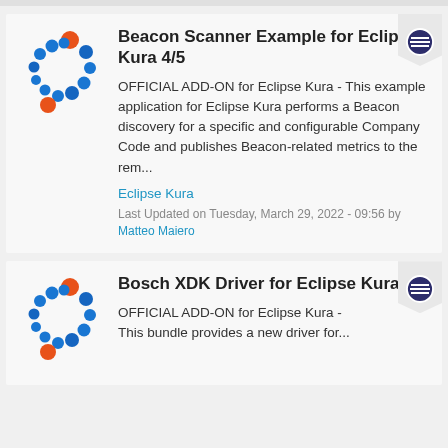[Figure (logo): Eclipse Kura logo - circular dot pattern in blue and orange]
Beacon Scanner Example for Eclipse Kura 4/5
OFFICIAL ADD-ON for Eclipse Kura - This example application for Eclipse Kura performs a Beacon discovery for a specific and configurable Company Code and publishes Beacon-related metrics to the rem...
Eclipse Kura
Last Updated on Tuesday, March 29, 2022 - 09:56 by Matteo Maiero
[Figure (logo): Eclipse Kura logo - circular dot pattern in blue and orange]
Bosch XDK Driver for Eclipse Kura 5
OFFICIAL ADD-ON for Eclipse Kura - This bundle provides a new driver for...